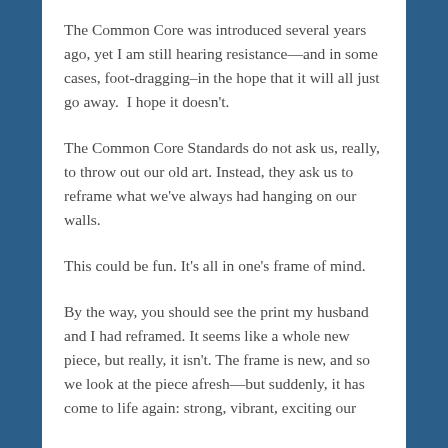The Common Core was introduced several years ago, yet I am still hearing resistance—and in some cases, foot-dragging–in the hope that it will all just go away.  I hope it doesn't.
The Common Core Standards do not ask us, really, to throw out our old art. Instead, they ask us to reframe what we've always had hanging on our walls.
This could be fun. It's all in one's frame of mind.
By the way, you should see the print my husband and I had reframed. It seems like a whole new piece, but really, it isn't. The frame is new, and so we look at the piece afresh—but suddenly, it has come to life again: strong, vibrant, exciting our